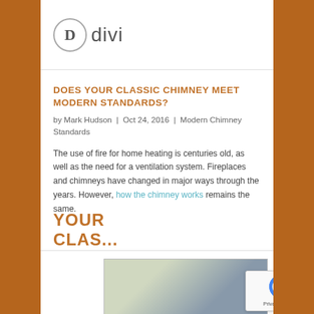[Figure (logo): Divi logo: circle with letter D followed by the word 'divi' in light gray]
DOES YOUR CLASSIC CHIMNEY MEET MODERN STANDARDS?
by Mark Hudson | Oct 24, 2016 | Modern Chimney Standards
The use of fire for home heating is centuries old, as well as the need for a ventilation system. Fireplaces and chimneys have changed in major ways through the years. However, how the chimney works remains the same.
YOUR CLASS...